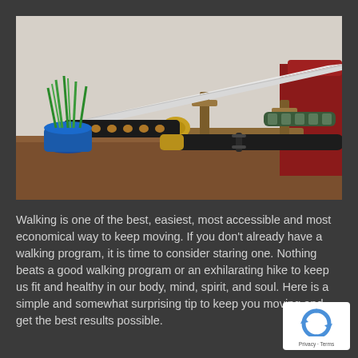[Figure (photo): A katana (Japanese sword) displayed on a wooden sword stand on a table, with a decorative blue pot of green grass on the left and a red chair in the background. A second bladed weapon with a patterned handle is also on the stand.]
Walking is one of the best, easiest, most accessible and most economical way to keep moving. If you don't already have a walking program, it is time to consider staring one. Nothing beats a good walking program or an exhilarating hike to keep us fit and healthy in our body, mind, spirit, and soul. Here is a simple and somewhat surprising tip to keep you moving and get the best results possible.
[Figure (logo): Google reCAPTCHA badge with a blue circular arrow logo and 'Privacy - Terms' text below.]